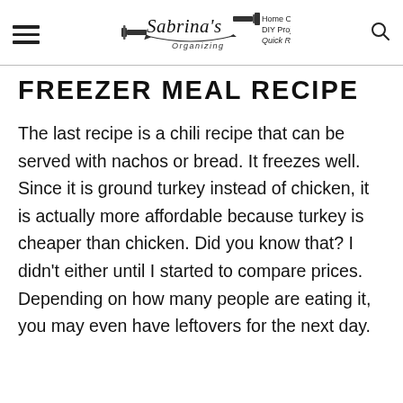Sabrina's Organizing — Home Organizing, DIY Projects, Quick Recipes
FREEZER MEAL RECIPE
The last recipe is a chili recipe that can be served with nachos or bread. It freezes well. Since it is ground turkey instead of chicken, it is actually more affordable because turkey is cheaper than chicken. Did you know that? I didn't either until I started to compare prices. Depending on how many people are eating it, you may even have leftovers for the next day.